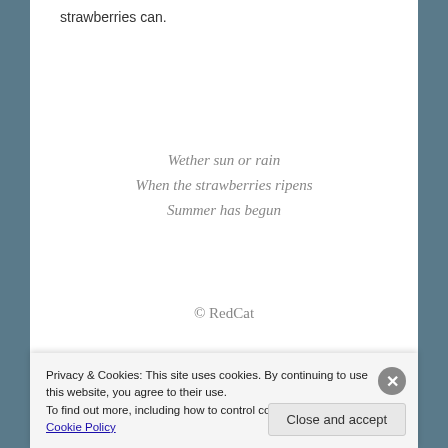strawberries can.
Wether sun or rain
When the strawberries ripens
Summer has begun
© RedCat
[Figure (photo): Partial view of a photo strip showing green leaves and pink flowers]
Privacy & Cookies: This site uses cookies. By continuing to use this website, you agree to their use.
To find out more, including how to control cookies, see here: Cookie Policy